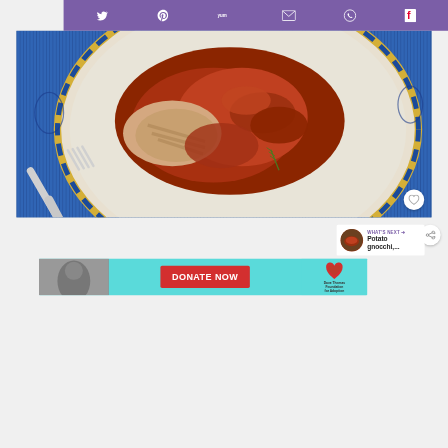[Figure (screenshot): Purple social sharing toolbar with Twitter, Pinterest, Yummly, Email, WhatsApp, and Flipboard icons on white/purple background]
[Figure (photo): Overhead photo of braised or roasted meat with tomato sauce on a decorative blue and yellow plate, with a fork, on a blue striped background]
[Figure (screenshot): Heart/save button (circular white button with heart icon) in bottom-right of photo]
[Figure (screenshot): Share button (circular white button with share icon)]
[Figure (screenshot): What's Next panel showing thumbnail of Potato gnocchi dish]
[Figure (screenshot): Advertisement banner for Dave Thomas Foundation for Adoption with DONATE NOW button and close button]